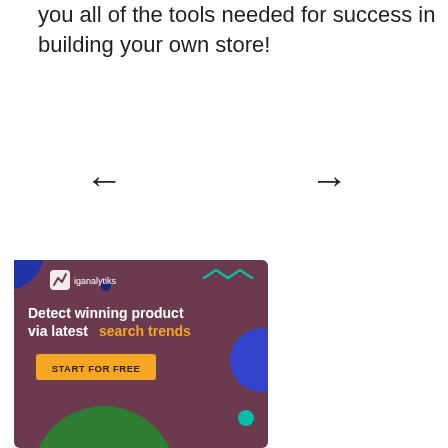you all of the tools needed for success in building your own store!
[Figure (illustration): Navigation arrows (left and right) for a carousel or slideshow]
[Figure (infographic): Advertisement banner for iganalytiks tool. Dark maroon/purple background with decorative circles (blue, green, teal). Logo and brand name 'iganalytiks' at top. Text: 'Detect winning product via latest search trends' with 'search trends' in orange. Button: 'START FOR FREE'.]